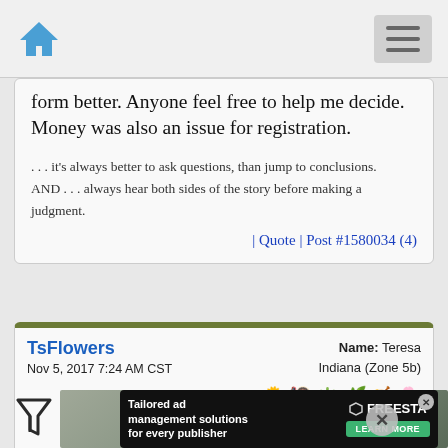Navigation bar with home icon and menu icon
form better. Anyone feel free to help me decide. Money was also an issue for registration.
. . . it's always better to ask questions, than jump to conclusions.
AND . . . always hear both sides of the story before making a judgment.
| Quote | Post #1580034 (4)
TsFlowers
Nov 5, 2017 7:24 AM CST
Name: Teresa
Indiana (Zone 5b)
[Figure (screenshot): Advertisement banner: Tailored ad management solutions for every publisher — Freestar, Learn More button]
[Figure (photo): Background photo visible behind advertisement]